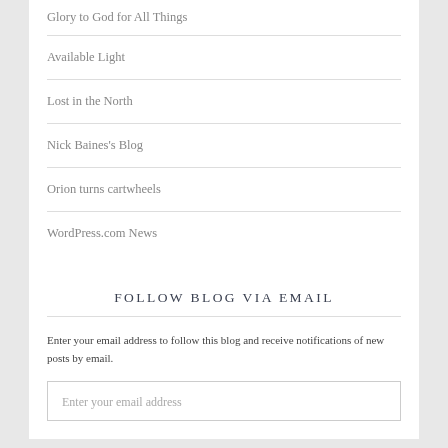Glory to God for All Things
Available Light
Lost in the North
Nick Baines's Blog
Orion turns cartwheels
WordPress.com News
FOLLOW BLOG VIA EMAIL
Enter your email address to follow this blog and receive notifications of new posts by email.
Enter your email address